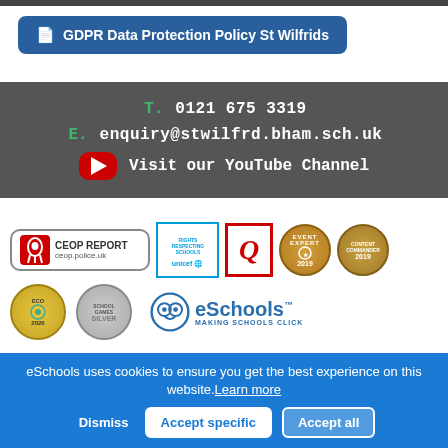[Figure (screenshot): Dark top navigation bar]
GDPR Data Protection Policy St Wilfrids
T. 0121 675 3319
E. enquiry@stwilfrd.bham.sch.uk
Visit our YouTube Channel
[Figure (logo): Row of partner/award logos: CEOP REPORT ceop.police.uk, UNICEF Rights Respecting Schools, Q quality mark, Event Expert 2019, Content Commander 2019, Eco Schools 2020, School Games Silver, eSchools Making Schools Click]
eSchools uses cookies to ensure you get the best experience on this website. Learn more
Dismiss  Accept specific  Accept all